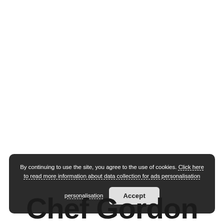[Figure (other): White blank area representing a webpage screenshot above the cookie consent banner]
By continuing to use the site, you agree to the use of cookies. Click here to read more information about data collection for ads personalisation
Accept
Chef Gordon